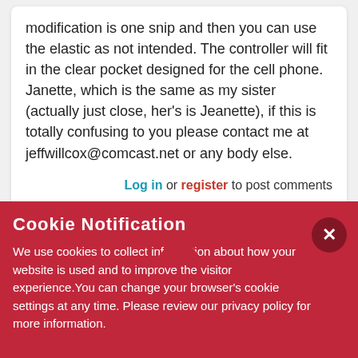modification is one snip and then you can use the elastic as not intended. The controller will fit in the clear pocket designed for the cell phone. Janette, which is the same as my sister (actually just close, her's is Jeanette), if this is totally confusing to you please contact me at jeffwillcox@comcast.net or any body else.
Log in or register to post comments
Cookie Notification
We use cookies to collect information about how your website is used and to improve the visitor experience. You can change your browser's cookie settings at any time. Please review our privacy policy for more information.